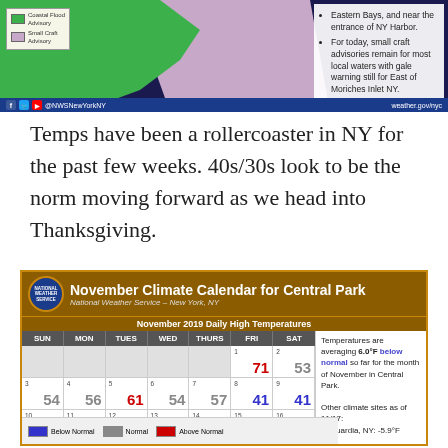[Figure (map): NWS New York weather map showing coastal areas with green (land advisory), pink (coastal/bay zone), and dark blue (open water) regions. Social media handles and weather.gov/nyc URL shown in footer bar.]
Temps have been a rollercoaster in NY for the past few weeks. 40s/30s look to be the norm moving forward as we head into Thanksgiving.
[Figure (table-as-image): November Climate Calendar for Central Park - National Weather Service New York, NY. November 2019 Daily High Temperatures calendar grid showing daily high temps. Sidebar notes temperatures averaging 6.0°F below normal for November in Central Park. Other climate sites as of 11/17: LaGuardia NY -5.9°F, Kennedy NY, Islip NY -5.9°F, Bridgeport CT -5.7°F, Newark NJ -6.8°F. Legend: Below Normal (blue), Normal (gray), Above Normal (red).]